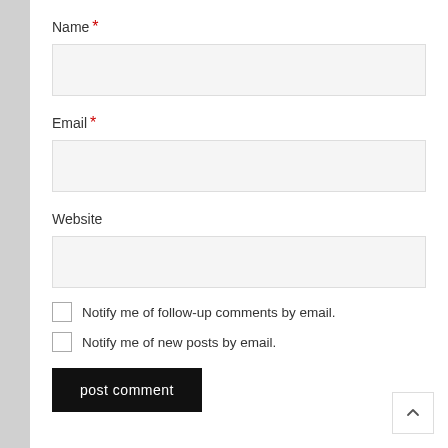Name *
[Figure (other): Text input field for Name]
Email *
[Figure (other): Text input field for Email]
Website
[Figure (other): Text input field for Website]
Notify me of follow-up comments by email.
Notify me of new posts by email.
post comment